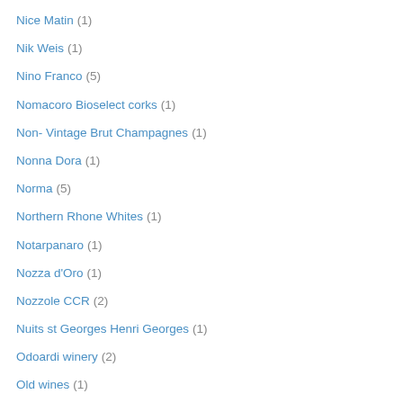Nice Matin (1)
Nik Weis (1)
Nino Franco (5)
Nomacoro Bioselect corks (1)
Non- Vintage Brut Champagnes (1)
Nonna Dora (1)
Norma (5)
Northern Rhone Whites (1)
Notarpanaro (1)
Nozza d'Oro (1)
Nozzole CCR (2)
Nuits st Georges Henri Georges (1)
Odoardi winery (2)
Old wines (1)
Olga Chinon (4)
Olive oli (3)
om and Diane (1)
Orange Wine (1)
Orange wines (1)
Organic wine (1)